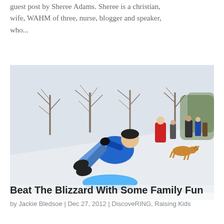guest post by Sheree Adams. Sheree is a christian, wife, WAHM of three, nurse, blogger and speaker, who...
[Figure (photo): A person in a blue jacket sledding down a snowy hill on a blue disc sled, with other people and a dog visible in the background among bare winter trees.]
Beat The Blizzard With Some Family Fun
by Jackie Bledsoe | Dec 27, 2012 | DiscoveRING, Raising Kids